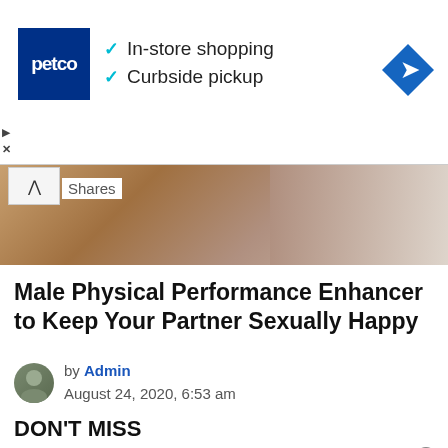[Figure (screenshot): Petco advertisement banner with logo, In-store shopping and Curbside pickup checkmarks, and navigation diamond icon]
[Figure (photo): Partial photo of a man, cropped, showing upper body]
Shares
Male Physical Performance Enhancer to Keep Your Partner Sexually Happy
by Admin
August 24, 2020, 6:53 am
DON'T MISS
[Figure (screenshot): Bottom advertisement banner with infinity logo, In-store shopping checkmark, and navigation diamond icon]